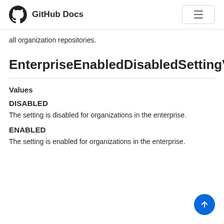GitHub Docs
all organization repositories.
EnterpriseEnabledDisabledSettingValue
Values
DISABLED
The setting is disabled for organizations in the enterprise.
ENABLED
The setting is enabled for organizations in the enterprise.